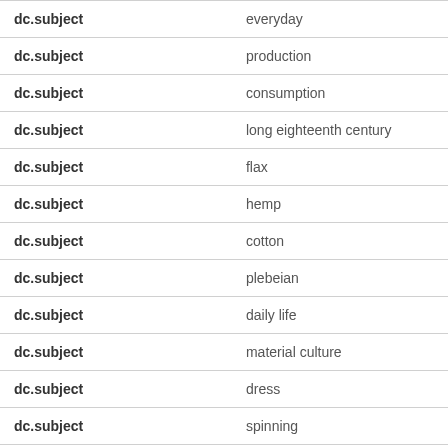| Field | Value |
| --- | --- |
| dc.subject | everyday |
| dc.subject | production |
| dc.subject | consumption |
| dc.subject | long eighteenth century |
| dc.subject | flax |
| dc.subject | hemp |
| dc.subject | cotton |
| dc.subject | plebeian |
| dc.subject | daily life |
| dc.subject | material culture |
| dc.subject | dress |
| dc.subject | spinning |